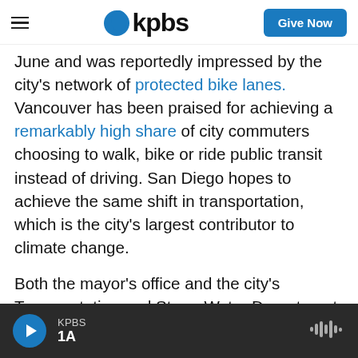KPBS — Give Now
June and was reportedly impressed by the city's network of protected bike lanes. Vancouver has been praised for achieving a remarkably high share of city commuters choosing to walk, bike or ride public transit instead of driving. San Diego hopes to achieve the same shift in transportation, which is the city's largest contributor to climate change.
Both the mayor's office and the city's Transportation and Storm Water Department declined interview requests. City spokesman Anthony Santacroce said via email:
KPBS 1A